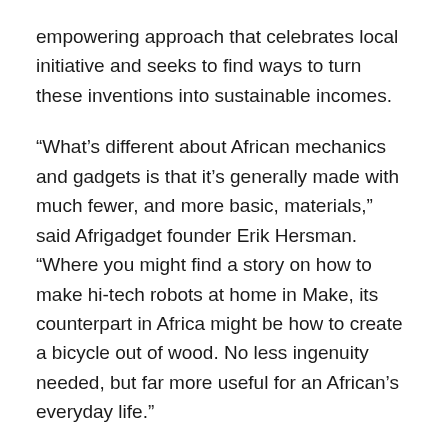empowering approach that celebrates local initiative and seeks to find ways to turn these inventions into sustainable incomes.
“What’s different about African mechanics and gadgets is that it’s generally made with much fewer, and more basic, materials,” said Afrigadget founder Erik Hersman. “Where you might find a story on how to make hi-tech robots at home in Make, its counterpart in Africa might be how to create a bicycle out of wood. No less ingenuity needed, but far more useful for an African’s everyday life.”
The African Maker Faire featured a wide range of solutions, from a low-power radio station to a bicycle-powered saw and a simple corn planter.
Shamsudeen Napara, from northern Ghana, brought a US